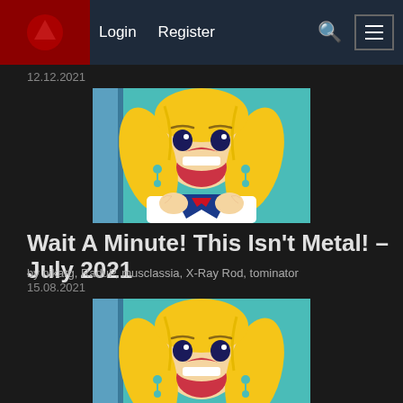Login  Register
12.12.2021
[Figure (illustration): Anime character (Sailor Moon style) with blonde pigtails, teal outfit, open mouth in a surprised expression, holding hands up to face]
Wait A Minute! This Isn't Metal! – July 2021
by nikarg, RaduP, musclassia, X-Ray Rod, tominator
15.08.2021
[Figure (illustration): Anime character (Sailor Moon style) with blonde pigtails, teal outfit, open mouth in a surprised expression, holding hands up to face]
Wait A Minute! This Isn't Metal! – February